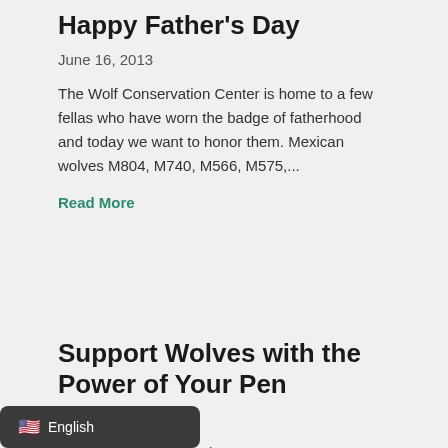Happy Father's Day
June 16, 2013
The Wolf Conservation Center is home to a few fellas who have worn the badge of fatherhood and today we want to honor them. Mexican wolves M804, M740,  M566, M575,...
Read More
Support Wolves with the Power of Your Pen
June 15, 2013
reat way to support wolves their recovery is by writing a
English